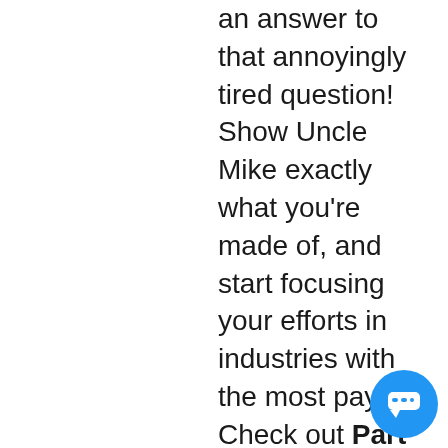an answer to that annoyingly tired question! Show Uncle Mike exactly what you're made of, and start focusing your efforts in industries with the most payoff. Check out Part 2, where I segment different areas of promise within each industry, explain how you can get involved, and some awesome examples to get you started!
[Figure (illustration): Blue circular chat/messaging button icon in bottom-right corner]